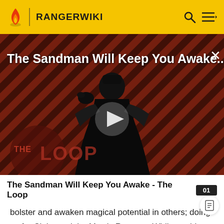RANGERWIKI
[Figure (screenshot): Video thumbnail for 'The Sandman Will Keep You Awake - The Loop'. Dark figure in black cloak against red and black diagonal stripe background. White play button triangle in center. 'THE LOOP' watermark logo in lower left. Title overlay at top: 'The Sandman Will Keep You Awake...' with close X button.]
The Sandman Will Keep You Awake - The Loop
bolster and awaken magical potential in others; doing so for Claire and the Mystic Rangers. While unable to best Octomus in a head-on confrontation, she did